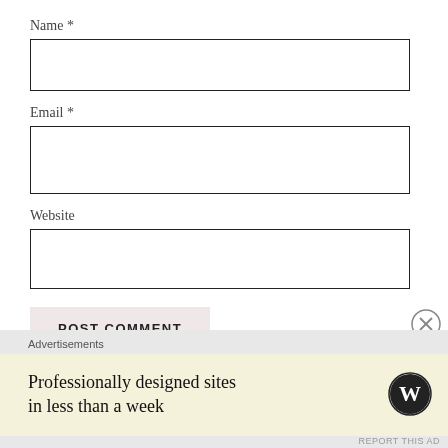Name *
Email *
Website
POST COMMENT
Notify me of new comments via email.
Notify me of new posts via email.
Advertisements
Professionally designed sites in less than a week
REPORT THIS AD